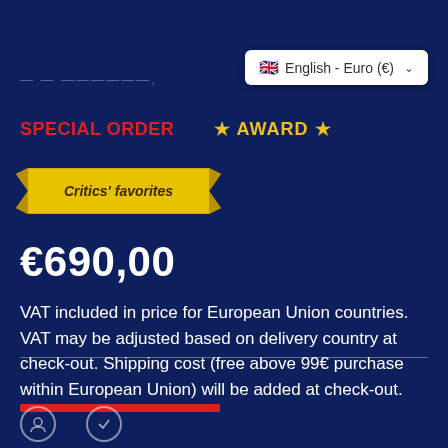[Figure (screenshot): Language selector dropdown showing UK flag and 'English - Euro (€)' with dropdown chevron]
SPECIAL ORDER
★ AWARD ★
[Figure (other): Critics' favorites banner badge in yellow/gold color]
€690,00
VAT included in price for European Union countries. VAT may be adjusted based on delivery country at check-out. Shipping cost (free above 99€ purchase within European Union) will be added at check-out.